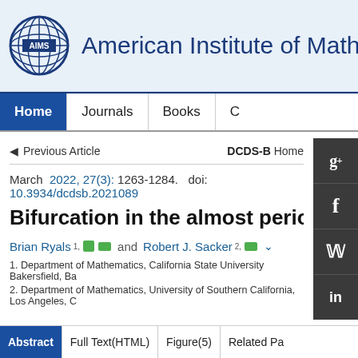[Figure (logo): AIMS globe logo with grid lines and 'AIMS' text at center]
American Institute of Mathe
Home   Journals   Books   ...
Previous Article   DCDS-B Home
March  2022, 27(3): 1263-1284.  doi: 10.3934/dcdsb.2021089
Bifurcation in the almost periodic
Brian Ryals 1, and  Robert J. Sacker 2,
1. Department of Mathematics, California State University Bakersfield, Ba
2. Department of Mathematics, University of Southern California, Los Angeles, C
Abstract   Full Text(HTML)   Figure(5)   Related Pa